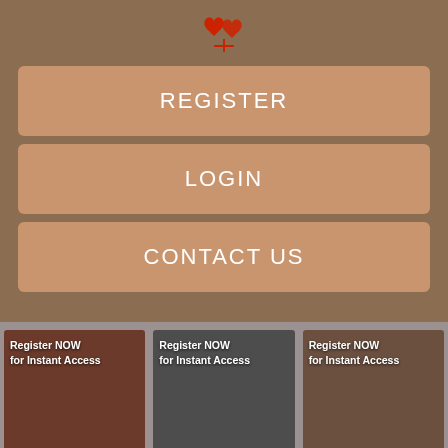[Figure (logo): Red heart/love icon logo at top center]
REGISTER
LOGIN
CONTACT US
[Figure (photo): Three thumbnail images in a row. First: woman in red swimwear with 'Register NOW for Instant Access' overlay. Second: dark gray tile with 'Register NOW for Instant Access' text. Third: blurred indoor scene with 'Register NOW for Instant Access' overlay.]
Swinger Couple Search Looking For A Man Horny Hot Women Seeking Connecting Singles